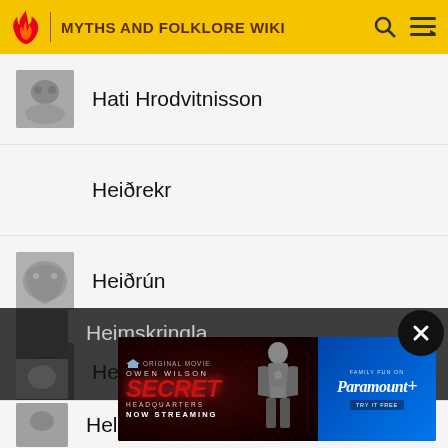MYTHS AND FOLKLORE WIKI
Hati Hrodvitnisson
Heiðrekr
Heiðrún
Heimdallr
Heimskringla
Helblindi
[Figure (screenshot): Advertisement for Owen Wilson Secret Headquarters movie, now streaming on Paramount+]